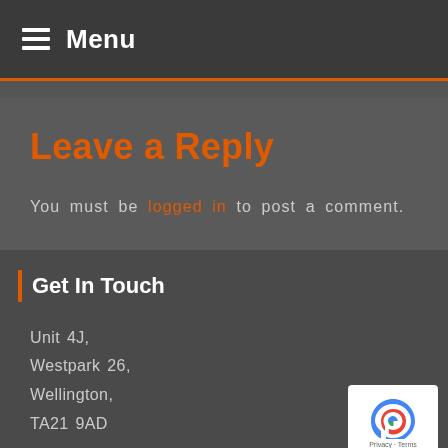Menu
Leave a Reply
You must be logged in to post a comment.
Get In Touch
Unit 4J,
Westpark 26,
Wellington,
TA21 9AD